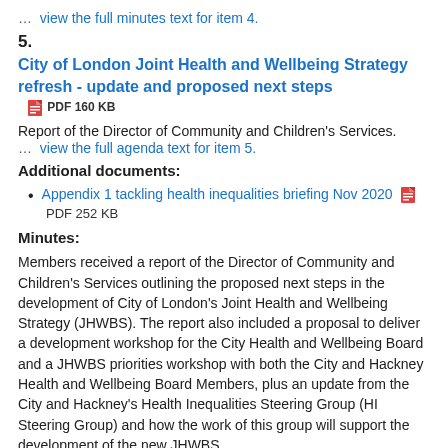...  view the full minutes text for item 4.
5.
City of London Joint Health and Wellbeing Strategy refresh - update and proposed next steps  PDF 160 KB
Report of the Director of Community and Children’s Services.
...  view the full agenda text for item 5.
Additional documents:
Appendix 1 tackling health inequalities briefing Nov 2020  PDF 252 KB
Minutes:
Members received a report of the Director of Community and Children’s Services outlining the proposed next steps in the development of City of London’s Joint Health and Wellbeing Strategy (JHWBS). The report also included a proposal to deliver a development workshop for the City Health and Wellbeing Board and a JHWBS priorities workshop with both the City and Hackney Health and Wellbeing Board Members, plus an update from the City and Hackney’s Health Inequalities Steering Group (HI Steering Group) and how the work of this group will support the development of the new JHWBS.